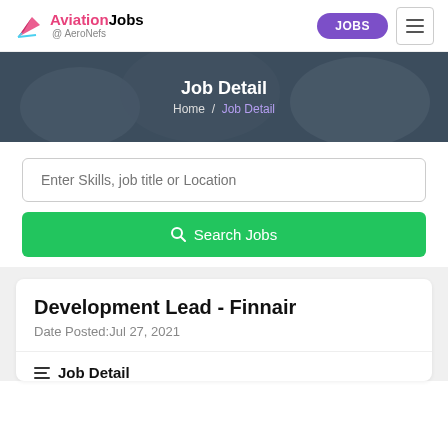Aviation Jobs @ AeroNefs — JOBS navigation
[Figure (screenshot): Hero banner with blurred office background showing job detail breadcrumb. Text: 'Job Detail' and 'Home / Job Detail']
Enter Skills, job title or Location
🔍 Search Jobs
Development Lead - Finnair
Date Posted:Jul 27, 2021
☰ Job Detail